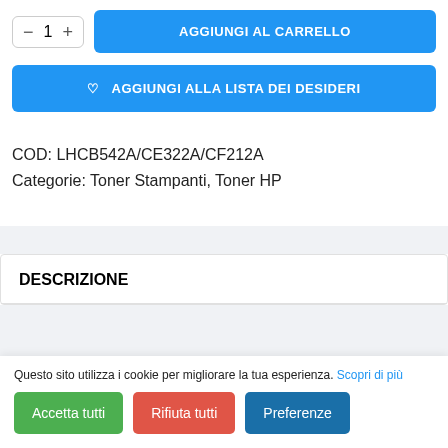[Figure (screenshot): Quantity selector with minus and plus buttons showing value 1, and blue Add to Cart button]
[Figure (screenshot): Blue button labeled AGGIUNGI ALLA LISTA DEI DESIDERI with heart icon]
COD: LHCB542A/CE322A/CF212A
Categorie: Toner Stampanti, Toner HP
DESCRIZIONE
Questo sito utilizza i cookie per migliorare la tua esperienza. Scopri di più
Accetta tutti
Rifiuta tutti
Preferenze